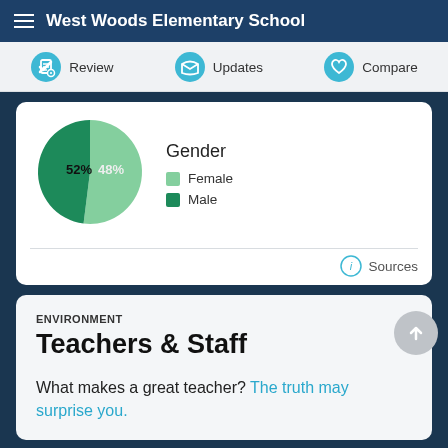West Woods Elementary School
[Figure (other): Navigation tabs: Review, Updates, Compare with icons]
[Figure (pie-chart): Gender]
Sources
ENVIRONMENT
Teachers & Staff
What makes a great teacher? The truth may surprise you.